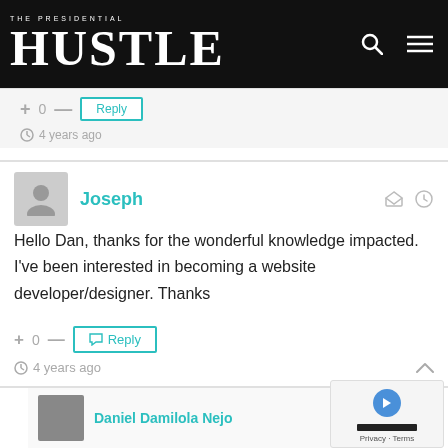THE PRESIDENTIAL HUSTLE
+ 0 — Reply
4 years ago
Joseph
Hello Dan, thanks for the wonderful knowledge impacted. I've been interested in becoming a website developer/designer. Thanks
+ 0 — Reply
4 years ago
Daniel Damilola Nejo
Hi Joseph,